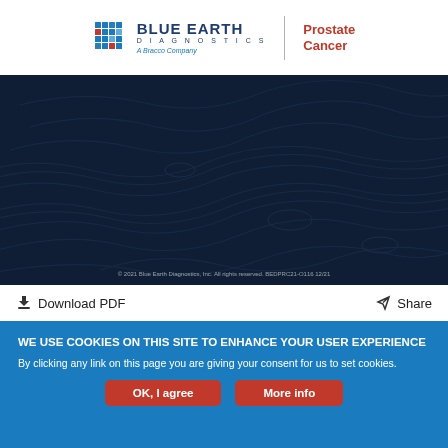[Figure (logo): Blue Earth Diagnostics logo with cube icon, 'BLUE EARTH DIAGNOSTICS A Bracco Company' text and 'Prostate Cancer' in red]
[Figure (illustration): Dark navy blue background with topographic contour line pattern. Copyright text at bottom: '© 2021 Blue Earth Diagnostics, Inc. All rights reserved. BEDPRC21-O116 12/21']
Download PDF
Share
WE USE COOKIES ON THIS SITE TO ENHANCE YOUR USER EXPERIENCE
By clicking any link on this page you are giving your consent for us to set cookies.
OK, I agree
More info